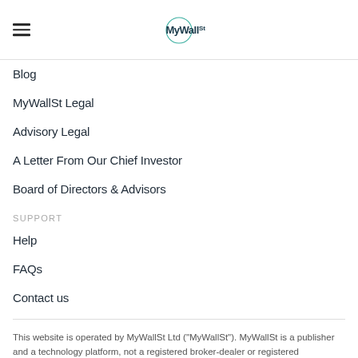MyWallSt
Blog
MyWallSt Legal
Advisory Legal
A Letter From Our Chief Investor
Board of Directors & Advisors
SUPPORT
Help
FAQs
Contact us
This website is operated by MyWallSt Ltd (“MyWallSt”). MyWallSt is a publisher and a technology platform, not a registered broker-dealer or registered investment adviser, and does not provide investment advice. All information provided by MyWallSt Limited is of a general nature for information and education purposes, and you should not construe any such